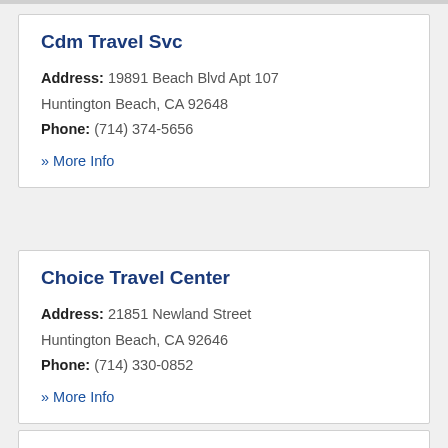Cdm Travel Svc
Address: 19891 Beach Blvd Apt 107 Huntington Beach, CA 92648
Phone: (714) 374-5656
» More Info
Choice Travel Center
Address: 21851 Newland Street Huntington Beach, CA 92646
Phone: (714) 330-0852
» More Info